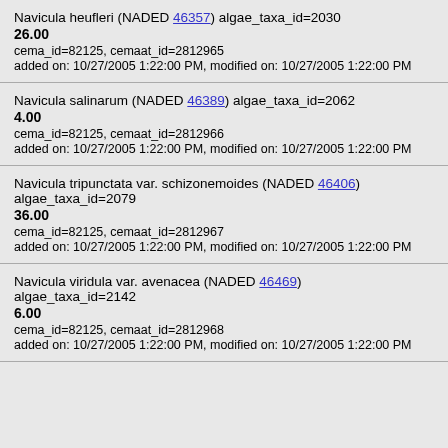Navicula heufleri (NADED 46357) algae_taxa_id=2030
26.00
cema_id=82125, cemaat_id=2812965
added on: 10/27/2005 1:22:00 PM, modified on: 10/27/2005 1:22:00 PM
Navicula salinarum (NADED 46389) algae_taxa_id=2062
4.00
cema_id=82125, cemaat_id=2812966
added on: 10/27/2005 1:22:00 PM, modified on: 10/27/2005 1:22:00 PM
Navicula tripunctata var. schizonemoides (NADED 46406) algae_taxa_id=2079
36.00
cema_id=82125, cemaat_id=2812967
added on: 10/27/2005 1:22:00 PM, modified on: 10/27/2005 1:22:00 PM
Navicula viridula var. avenacea (NADED 46469) algae_taxa_id=2142
6.00
cema_id=82125, cemaat_id=2812968
added on: 10/27/2005 1:22:00 PM, modified on: 10/27/2005 1:22:00 PM